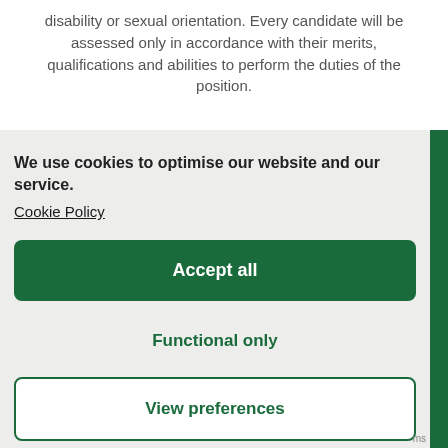disability or sexual orientation. Every candidate will be assessed only in accordance with their merits, qualifications and abilities to perform the duties of the position.
We use cookies to optimise our website and our service.
Cookie Policy
Accept all
Functional only
View preferences